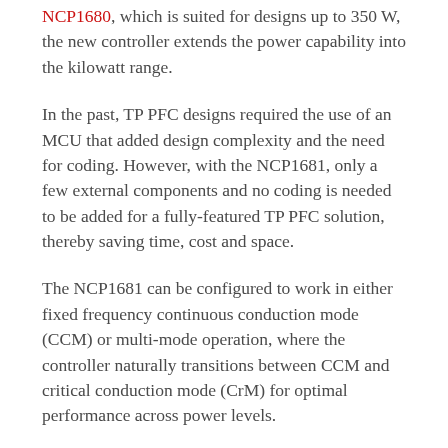NCP1680, which is suited for designs up to 350 W, the new controller extends the power capability into the kilowatt range.
In the past, TP PFC designs required the use of an MCU that added design complexity and the need for coding. However, with the NCP1681, only a few external components and no coding is needed to be added for a fully-featured TP PFC solution, thereby saving time, cost and space.
The NCP1681 can be configured to work in either fixed frequency continuous conduction mode (CCM) or multi-mode operation, where the controller naturally transitions between CCM and critical conduction mode (CrM) for optimal performance across power levels.